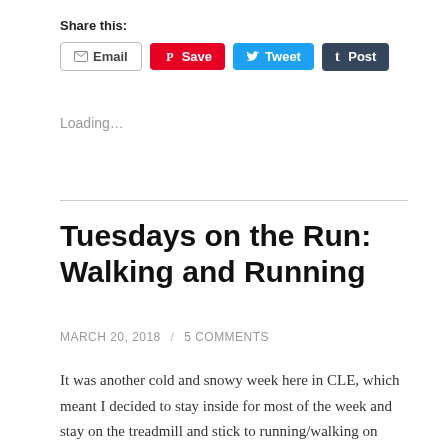Share this:
[Figure (screenshot): Social share buttons: Email, Save (Pinterest), Tweet (Twitter), Post (Tumblr)]
Loading...
Tuesdays on the Run: Walking and Running
MARCH 20, 2018  /  5 COMMENTS
It was another cold and snowy week here in CLE, which meant I decided to stay inside for most of the week and stay on the treadmill and stick to running/walking on Monday through Friday. I'm so so slow these days and